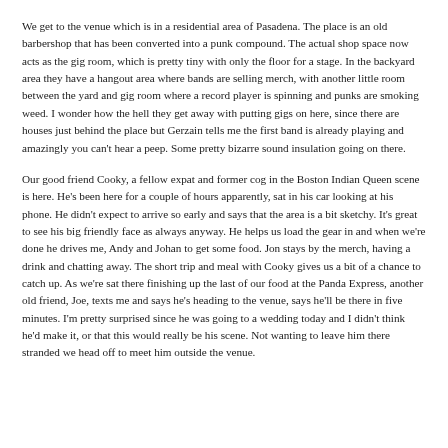We get to the venue which is in a residential area of Pasadena. The place is an old barbershop that has been converted into a punk compound. The actual shop space now acts as the gig room, which is pretty tiny with only the floor for a stage. In the backyard area they have a hangout area where bands are selling merch, with another little room between the yard and gig room where a record player is spinning and punks are smoking weed. I wonder how the hell they get away with putting gigs on here, since there are houses just behind the place but Gerzain tells me the first band is already playing and amazingly you can't hear a peep. Some pretty bizarre sound insulation going on there.
Our good friend Cooky, a fellow expat and former cog in the Boston Indian Queen scene is here. He's been here for a couple of hours apparently, sat in his car looking at his phone. He didn't expect to arrive so early and says that the area is a bit sketchy. It's great to see his big friendly face as always anyway. He helps us load the gear in and when we're done he drives me, Andy and Johan to get some food. Jon stays by the merch, having a drink and chatting away. The short trip and meal with Cooky gives us a bit of a chance to catch up. As we're sat there finishing up the last of our food at the Panda Express, another old friend, Joe, texts me and says he's heading to the venue, says he'll be there in five minutes. I'm pretty surprised since he was going to a wedding today and I didn't think he'd make it, or that this would really be his scene. Not wanting to leave him there stranded we head off to meet him outside the venue.